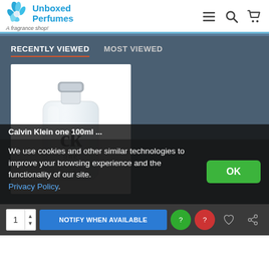Unboxed Perfumes – A fragrance shop!
RECENTLY VIEWED | MOST VIEWED
[Figure (photo): Calvin Klein CK One 100ml perfume bottle – a clear/frosted rectangular bottle with silver cap showing 'ck one' text and Calvin Klein branding]
Calvin Klein one 100ml ...
We use cookies and other similar technologies to improve your browsing experience and the functionality of our site. Privacy Policy.
NOTIFY WHEN AVAILABLE